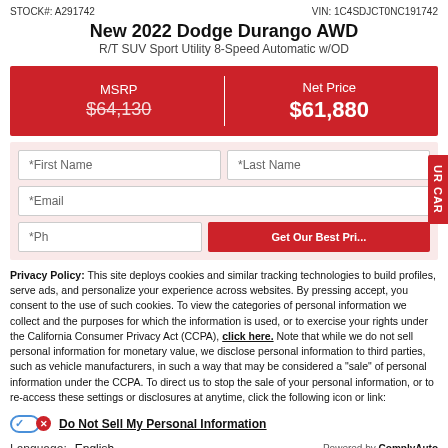STOCK#: A291742    VIN: 1C4SDJCT0NC191742
New 2022 Dodge Durango AWD
R/T SUV Sport Utility 8-Speed Automatic w/OD
| MSRP | Net Price |
| --- | --- |
| $64,130 | $61,880 |
[Figure (other): Contact form with First Name, Last Name, Email, Phone fields and Get Our Best Price button]
Privacy Policy: This site deploys cookies and similar tracking technologies to build profiles, serve ads, and personalize your experience across websites. By pressing accept, you consent to the use of such cookies. To view the categories of personal information we collect and the purposes for which the information is used, or to exercise your rights under the California Consumer Privacy Act (CCPA), click here. Note that while we do not sell personal information for monetary value, we disclose personal information to third parties, such as vehicle manufacturers, in such a way that may be considered a "sale" of personal information under the CCPA. To direct us to stop the sale of your personal information, or to re-access these settings or disclosures at anytime, click the following icon or link:
Do Not Sell My Personal Information
Language: English
Powered by ComplyAuto
Accept and Continue →
California Privacy Disclosures